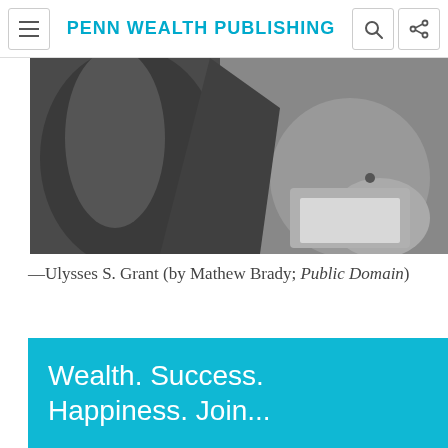PENN WEALTH PUBLISHING
[Figure (photo): Black and white photograph of Ulysses S. Grant, showing his torso and hands, wearing a dark military jacket, photographed by Mathew Brady.]
—Ulysses S. Grant (by Mathew Brady; Public Domain)
Wealth. Success. Happiness. Join...